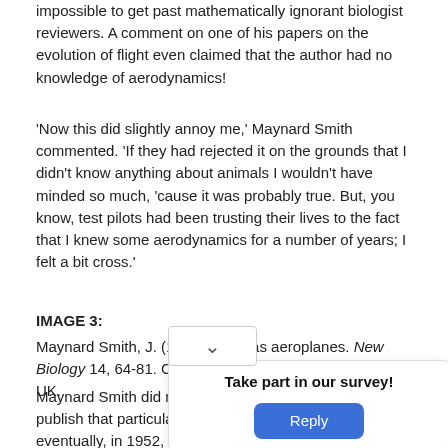impossible to get past mathematically ignorant biologist reviewers. A comment on one of his papers on the evolution of flight even claimed that the author had no knowledge of aerodynamics!
'Now this did slightly annoy me,' Maynard Smith commented. 'If they had rejected it on the grounds that I didn't know anything about animals I wouldn't have minded so much, 'cause it was probably true. But, you know, test pilots had been trusting their lives to the fact that I knew some aerodynamics for a number of years; I felt a bit cross.'
IMAGE 3:
Maynard Smith, J. (1953). Birds as aeroplanes. New Biology 14, 64-81. Copyright Penguin Random House UK.
Maynard Smith did manage to publish that particular paper eventually, in 1952, but work with Davies on hoverflies
[Figure (photo): Black and white photograph showing scattered dots/particles with a drawing of a hoverfly insect in the lower center area]